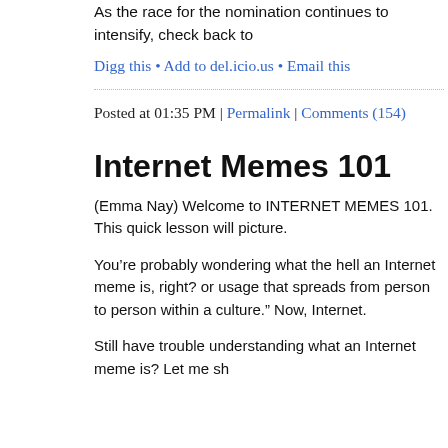As the race for the nomination continues to intensify, check back to
Digg this · Add to del.icio.us · Email this
Posted at 01:35 PM | Permalink | Comments (154)
Internet Memes 101
(Emma Nay) Welcome to INTERNET MEMES 101. This quick lesson will picture.
You're probably wondering what the hell an Internet meme is, right? or usage that spreads from person to person within a culture." Now, Internet.
Still have trouble understanding what an Internet meme is? Let me sh
As you can see here, I am planking on two desks in an old office at w but it was fun. You're probably wondering how in the hell would this you'll find out how entertaining it really is. How did this strange fad b